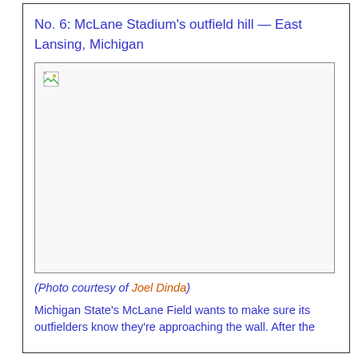No. 6: McLane Stadium's outfield hill — East Lansing, Michigan
[Figure (photo): Placeholder image (broken image icon visible) for McLane Stadium's outfield hill at East Lansing, Michigan]
(Photo courtesy of Joel Dinda)
Michigan State's McLane Field wants to make sure its outfielders know they're approaching the wall. After the